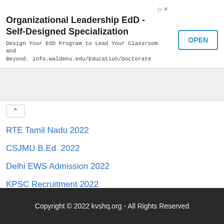[Figure (screenshot): Advertisement banner for Organizational Leadership EdD Self-Designed Specialization with an OPEN button]
RTE Tamil Nadu 2022
CSJMU B.Ed  2022
Delhi EWS Admission 2022
KPSC Recruitment 2022
NSUT Delhi Admission 2022
Copyright © 2022 kvshq.org - All Rights Reserved